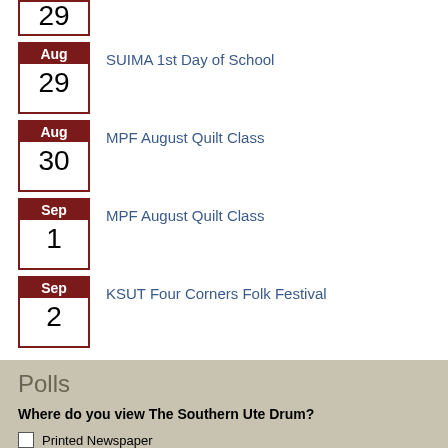29 (partial calendar item, top of page)
Aug 29 - SUIMA 1st Day of School
Aug 30 - MPF August Quilt Class
Sep 1 - MPF August Quilt Class
Sep 2 - KSUT Four Corners Folk Festival
Polls
Where do you view The Southern Ute Drum?
Printed Newspaper
Newspaper Website
eEditions
Instagram
Twitter